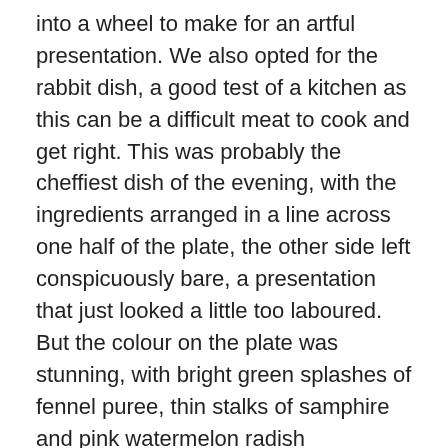into a wheel to make for an artful presentation. We also opted for the rabbit dish, a good test of a kitchen as this can be a difficult meat to cook and get right. This was probably the cheffiest dish of the evening, with the ingredients arranged in a line across one half of the plate, the other side left conspicuously bare, a presentation that just looked a little too laboured. But the colour on the plate was stunning, with bright green splashes of fennel puree, thin stalks of samphire and pink watermelon radish punctuating the low key tones of the rabbit and gnocchi. The rabbit loin was tender and tasty, but the langoustine tails, which were removed from the shell, were just a little mushy.
Desserts, while seemingly simple, were technically very good. The apple dish had stewed apple on the bottom, layered with filo pasty and custard, finished off on top with